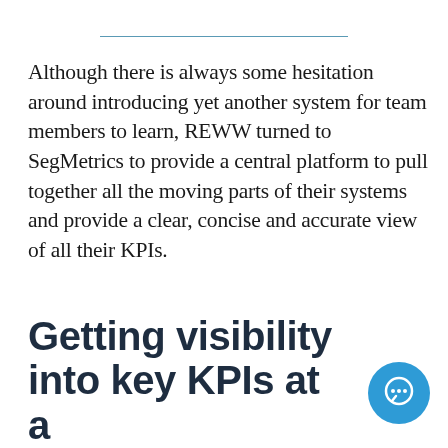Although there is always some hesitation around introducing yet another system for team members to learn, REWW turned to SegMetrics to provide a central platform to pull together all the moving parts of their systems and provide a clear, concise and accurate view of all their KPIs.
Getting visibility into key KPIs at a